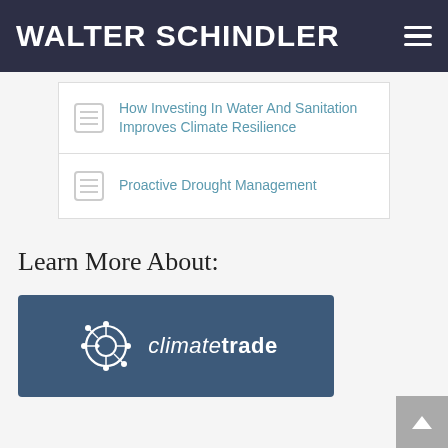WALTER SCHINDLER
How Investing In Water And Sanitation Improves Climate Resilience
Proactive Drought Management
Learn More About:
[Figure (logo): ClimateTrade logo: white network/globe icon with arrows and text 'climatetrade' on a dark blue-grey background]